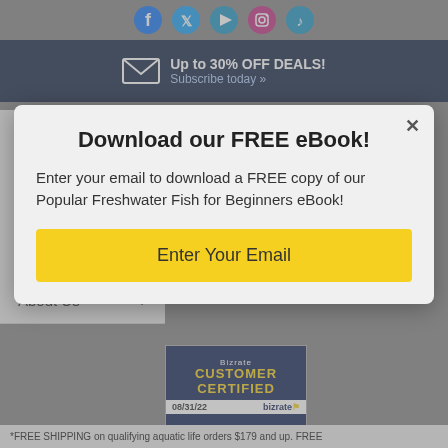[Figure (infographic): Social media icons row (Facebook, Twitter, YouTube, Instagram, TikTok) in blue circles]
[Figure (infographic): Dark navy bar with envelope icon and text: Up to 30% OFF DEALS! Subscribe today »]
Features
Resources
Services
Help
About Us
Download our FREE eBook!
Enter your email to download a FREE copy of our Popular Freshwater Fish for Beginners eBook!
Enter Your Email
[Figure (logo): Bizrate Customer Certified badge dated 08/31/22]
*FREE SHIPPING on qualifying aquatic life orders $179 and up. FREE